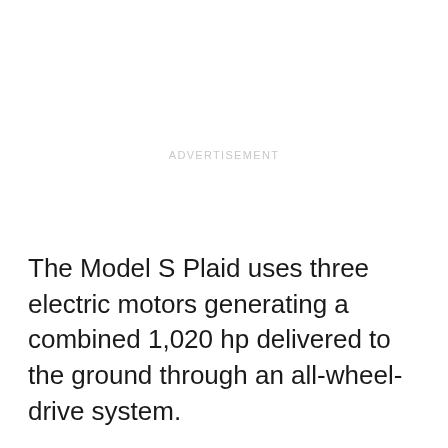[Figure (other): Advertisement placeholder area with 'ADVERTISEMENT' label text in light gray]
The Model S Plaid uses three electric motors generating a combined 1,020 hp delivered to the ground through an all-wheel-drive system.